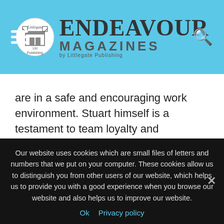Endeavour Magazines by Littlegate Publishing
are in a safe and encouraging work environment. Stuart himself is a testament to team loyalty and enthusiasm, and the support that TSL gives: November will mark his first anniversary as CEO, but he actually joined TSL 17 years ago as a sales representative. This is noteworthy both because Stuart's dedication shows what an excellent company TSL must be to work for, and because it shows how genuine TSL's support of its staff is. Many companies boast about internal promotion
Our website uses cookies which are small files of letters and numbers that we put on your computer. These cookies allow us to distinguish you from other users of our website, which helps us to provide you with a good experience when you browse our website and also helps us to improve our website.
Ok   Privacy policy